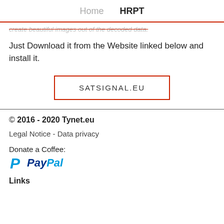Home   HRPT
create beautiful images out of the decoded data.
Just Download it from the Website linked below and install it.
[Figure (other): Button/link to SATSIGNAL.EU with red border]
© 2016 - 2020 Tynet.eu
Legal Notice - Data privacy
Donate a Coffee:
[Figure (logo): PayPal logo with P icon and PayPal text in blue]
Links